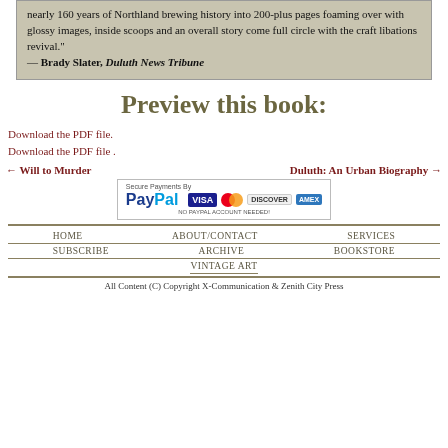nearly 160 years of Northland brewing history into 200-plus pages foaming over with glossy images, inside scoops and an overall story come full circle with the craft libations revival." — Brady Slater, Duluth News Tribune
Preview this book:
Download the PDF file.
Download the PDF file .
← Will to Murder    Duluth: An Urban Biography →
[Figure (logo): PayPal Secure Payments logo with VISA, MasterCard, Discover, and American Express card icons and text NO PAYPAL ACCOUNT NEEDED!]
HOME   ABOUT/CONTACT   SERVICES   SUBSCRIBE   ARCHIVE   BOOKSTORE   VINTAGE ART   All Content (C) Copyright X-Communication & Zenith City Press